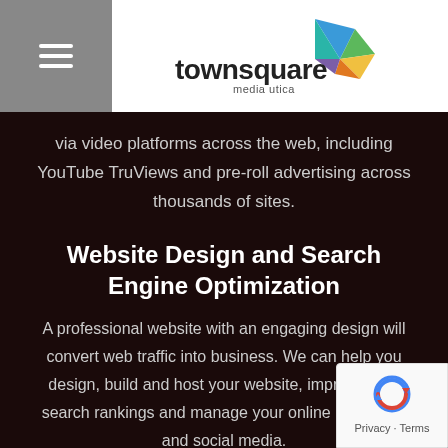[Figure (logo): Townsquare Media Utica logo with colorful fan/kite graphic]
via video platforms across the web, including YouTube TruViews and pre-roll advertising across thousands of sites.
Website Design and Search Engine Optimization
A professional website with an engaging design will convert web traffic into business. We can help you design, build and host your website, improve your search rankings and manage your online reputation and social media.
Promotional Partnerships
Partner with our hugely popular brands and events to reach